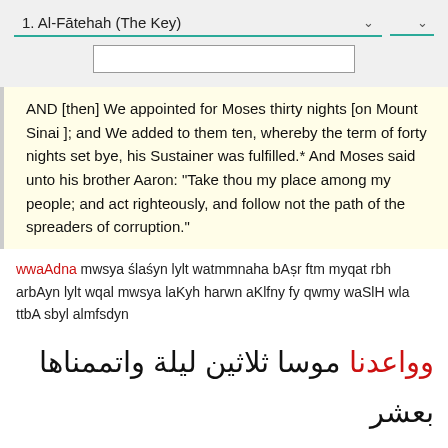1. Al-Fātehah (The Key)
AND [then] We appointed for Moses thirty nights [on Mount Sinai ]; and We added to them ten, whereby the term of forty nights set bye, his Sustainer was fulfilled.* And Moses said unto his brother Aaron: "Take thou my place among my people; and act righteously, and follow not the path of the spreaders of corruption."
wwaAdna mwsya ślaśyn lylt watmmnaha bAṣr ftm myqat rbh arbAyn lylt wqal mwsya laKyh harwn aKlfny fy qwmy waSlH wla ttbA sbyl almfsdyn
وواعدنا موسا ثلاثين ليلة واتممناها بعشر فتم ميقات ربه اربعين ليلة وقال موسا